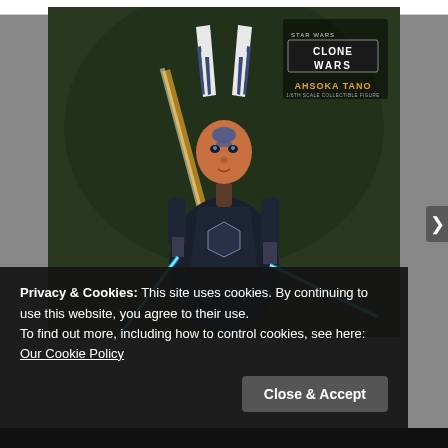[Figure (photo): Star Wars: The Clone Wars collectible figure of Ahsoka Tano holding two blue lightsabers, wearing white and dark armored outfit with distinctive head-tails, with Clone Wars and Ahsoka Tano logo in upper right corner. Dark green moody background.]
Privacy & Cookies: This site uses cookies. By continuing to use this website, you agree to their use.
To find out more, including how to control cookies, see here: Our Cookie Policy